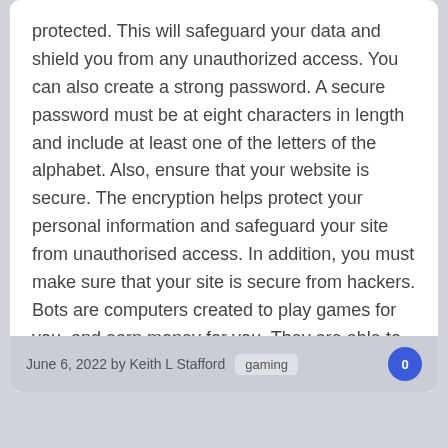protected. This will safeguard your data and shield you from any unauthorized access. You can also create a strong password. A secure password must be at eight characters in length and include at least one of the letters of the alphabet. Also, ensure that your website is secure. The encryption helps protect your personal information and safeguard your site from unauthorised access. In addition, you must make sure that your site is secure from hackers. Bots are computers created to play games for you, and earn money for you. They are able to fail and cause your website to go down. This could cause quite a hassle for you. To help protect the security of your casino site, you should make sure that you use an appropriate password and secure your website.
June 6, 2022 by Keith L Stafford  gaming  0